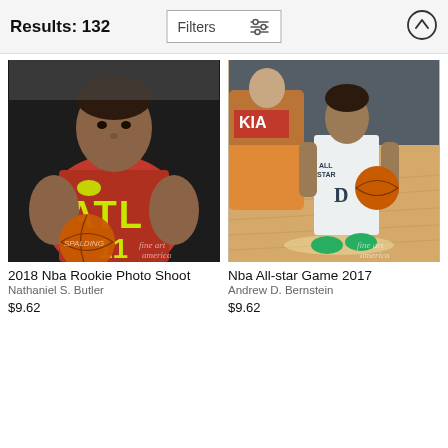Results: 132   Filters   ↑
[Figure (photo): NBA player in ATL red jersey number 11 holding a Spalding basketball, photo shoot background. Fine Art America watermark visible.]
2018 Nba Rookie Photo Shoot
Nathaniel S. Butler
$9.62
[Figure (photo): NBA All-Star Game 2017, player in white All-Star uniform dribbling basketball with green shoes on hardwood court. Fine Art America watermark visible.]
Nba All-star Game 2017
Andrew D. Bernstein
$9.62